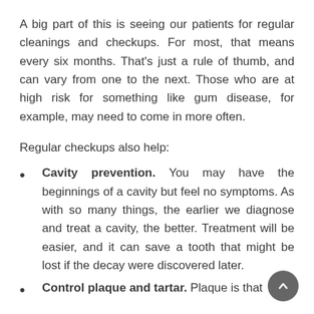A big part of this is seeing our patients for regular cleanings and checkups. For most, that means every six months. That's just a rule of thumb, and can vary from one to the next. Those who are at high risk for something like gum disease, for example, may need to come in more often.
Regular checkups also help:
Cavity prevention. You may have the beginnings of a cavity but feel no symptoms. As with so many things, the earlier we diagnose and treat a cavity, the better. Treatment will be easier, and it can save a tooth that might be lost if the decay were discovered later.
Control plaque and tartar. Plaque is that